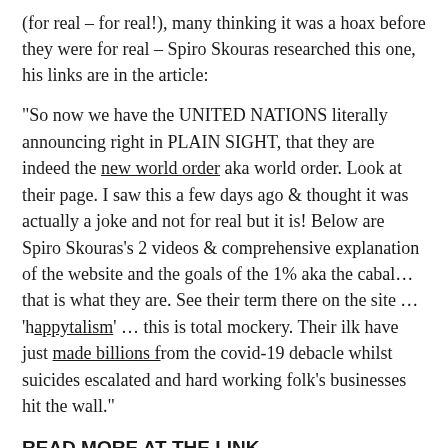(for real – for real!), many thinking it was a hoax before they were for real – Spiro Skouras researched this one, his links are in the article:
“So now we have the UNITED NATIONS literally announcing right in PLAIN SIGHT, that they are indeed the new world order aka world order. Look at their page. I saw this a few days ago & thought it was actually a joke and not for real but it is! Below are Spiro Skouras’s 2 videos & comprehensive explanation of the website and the goals of the 1% aka the cabal… that is what they are. See their term there on the site … ‘happytalism’ … this is total mockery. Their ilk have just made billions from the covid-19 debacle whilst suicides escalated and hard working folk’s businesses hit the wall.”
READ MORE AT THE LINK
https://envirowatchrangitikei.wordpress.com/2020/05/29/did-you-know-the-united-nations-has-launched-a-new-world-order-website-revised-/